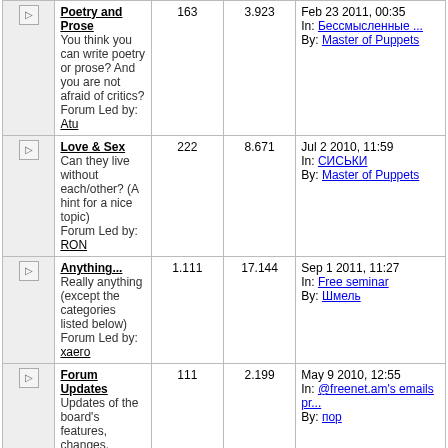|  | Forum | Topics | Replies | Last Post Info |
| --- | --- | --- | --- | --- |
| ▷ | Poetry and Prose
You think you can write poetry or prose? And you are not afraid of critics?
Forum Led by: Atu | 163 | 3.923 | Feb 23 2011, 00:35
In: Бессмысленные ...
By: Master of Puppets |
| ▷ | Love & Sex
Can they live without each/other? (A hint for a nice topic)
Forum Led by: RON | 222 | 8.671 | Jul 2 2010, 11:59
In: СИСЬКИ
By: Master of Puppets |
| ▷ | Anything...
Really anything (except the categories listed below)
Forum Led by: хаего | 1.111 | 17.144 | Sep 1 2011, 11:27
In: Free seminar
By: Шмель |
| ▷ | Forum Updates
Updates of the board's features, changes, Moderators announcements and discussions. | 111 | 2.199 | May 9 2010, 12:55
In: @freenet.am's emails pr...
By: пор |
Entertainment & Leisure
|  | Forum | Topics | Replies | Last Post Info |
| --- | --- | --- | --- | --- |
| ▷ | Computer games
New games announcements, discussions, strategy, problems...
Forum Led by: Gogor | 308 | 4.387 | Feb 26 2011, 00:00
In: CS 1.6 и CSS.
By: Spuner |
| ▷ | Music
Any kind of music, modern, classical, | 450 | 5.293 | Oct 6 2010, 23:05
In: Nairi
By: Master of |